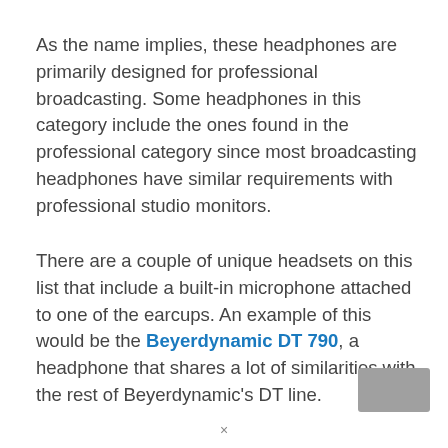As the name implies, these headphones are primarily designed for professional broadcasting. Some headphones in this category include the ones found in the professional category since most broadcasting headphones have similar requirements with professional studio monitors.
There are a couple of unique headsets on this list that include a built-in microphone attached to one of the earcups. An example of this would be the Beyerdynamic DT 790, a headphone that shares a lot of similarities with the rest of Beyerdynamic's DT line.